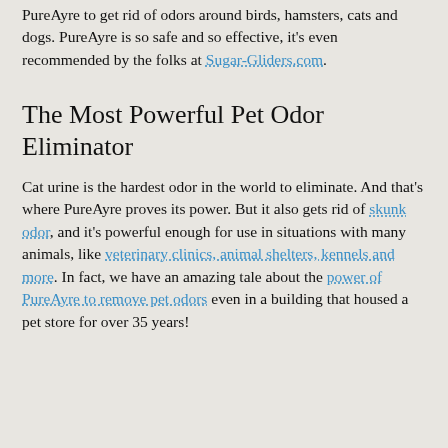PureAyre to get rid of odors around birds, hamsters, cats and dogs. PureAyre is so safe and so effective, it's even recommended by the folks at Sugar-Gliders.com.
The Most Powerful Pet Odor Eliminator
Cat urine is the hardest odor in the world to eliminate. And that's where PureAyre proves its power. But it also gets rid of skunk odor, and it's powerful enough for use in situations with many animals, like veterinary clinics, animal shelters, kennels and more. In fact, we have an amazing tale about the power of PureAyre to remove pet odors even in a building that housed a pet store for over 35 years!